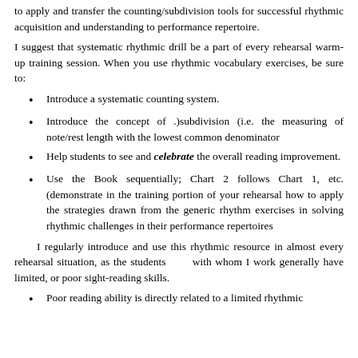to apply and transfer the counting/subdivision tools for successful rhythmic acquisition and understanding to performance repertoire.
I suggest that systematic rhythmic drill be a part of every rehearsal warm-up training session. When you use rhythmic vocabulary exercises, be sure to:
Introduce a systematic counting system.
Introduce the concept of .)subdivision (i.e. the measuring of note/rest length with the lowest common denominator
Help students to see and celebrate the overall reading improvement.
Use the Book sequentially; Chart 2 follows Chart 1, etc. (demonstrate in the training portion of your rehearsal how to apply the strategies drawn from the generic rhythm exercises in solving rhythmic challenges in their performance repertoires
I regularly introduce and use this rhythmic resource in almost every rehearsal situation, as the students      with whom I work generally have limited, or poor sight-reading skills.
Poor reading ability is directly related to a limited rhythmic